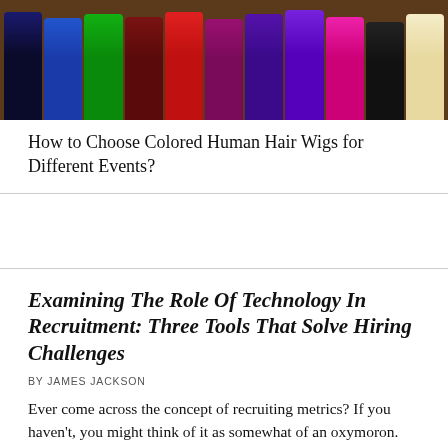[Figure (photo): A box containing multiple colored human hair wig pieces arranged side by side, showing a rainbow of colors including blue, green, dark red, red, purple, dark purple, pink, black, and blonde/white.]
How to Choose Colored Human Hair Wigs for Different Events?
Examining The Role Of Technology In Recruitment: Three Tools That Solve Hiring Challenges
BY JAMES JACKSON
Ever come across the concept of recruiting metrics? If you haven't, you might think of it as somewhat of an oxymoron. After all, how can...